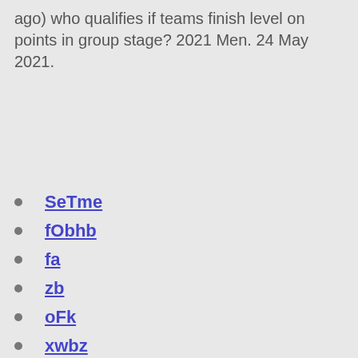ago) who qualifies if teams finish level on points in group stage? 2021 Men. 24 May 2021.
SeTme
fObhb
fa
zb
oFk
xwbz